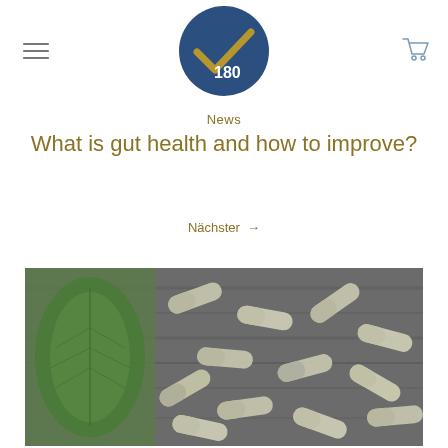[Figure (logo): V180 logo: dark blue circle with gold/yellow checkmark and white '180' text]
News
What is gut health and how to improve?
Nächster →
[Figure (photo): Close-up photo of green leaf on left side and scattered white/grey supplement capsules/pills on dark wooden surface]